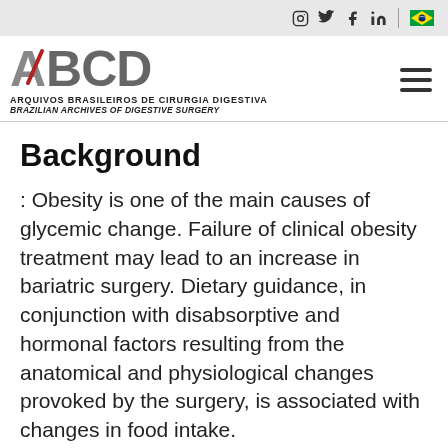ABCD - Arquivos Brasileiros de Cirurgia Digestiva / Brazilian Archives of Digestive Surgery
Background
: Obesity is one of the main causes of glycemic change. Failure of clinical obesity treatment may lead to an increase in bariatric surgery. Dietary guidance, in conjunction with disabsorptive and hormonal factors resulting from the anatomical and physiological changes provoked by the surgery, is associated with changes in food intake.